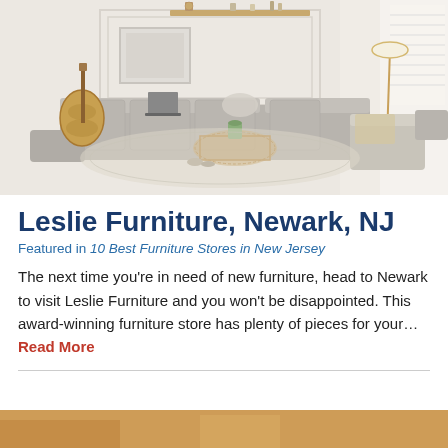[Figure (photo): A modern living room with a grey sectional sofa, rattan coffee table, guitar leaning against the wall, framed artwork, shelves with decor, and a floor lamp. Light and airy aesthetic with white walls and a textured rug.]
Leslie Furniture, Newark, NJ
Featured in 10 Best Furniture Stores in New Jersey
The next time you're in need of new furniture, head to Newark to visit Leslie Furniture and you won't be disappointed. This award-winning furniture store has plenty of pieces for your… Read More